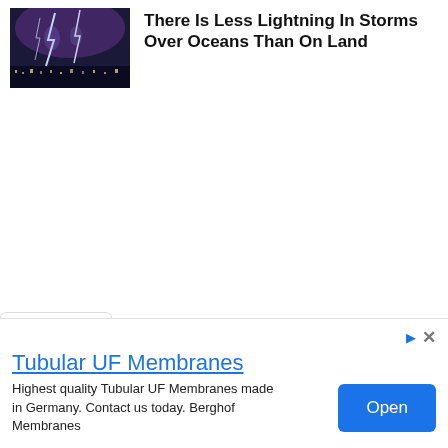[Figure (photo): Photo of lightning strike over a city at night with purple-tinted sky]
There Is Less Lightning In Storms Over Oceans Than On Land
[Figure (other): Advertisement banner for Tubular UF Membranes by Berghof Membranes with an Open button]
Tubular UF Membranes
Highest quality Tubular UF Membranes made in Germany. Contact us today. Berghof Membranes